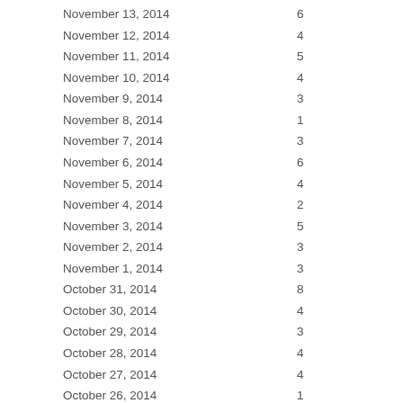| Date | Value |
| --- | --- |
| November 13, 2014 | 6 |
| November 12, 2014 | 4 |
| November 11, 2014 | 5 |
| November 10, 2014 | 4 |
| November 9, 2014 | 3 |
| November 8, 2014 | 1 |
| November 7, 2014 | 3 |
| November 6, 2014 | 6 |
| November 5, 2014 | 4 |
| November 4, 2014 | 2 |
| November 3, 2014 | 5 |
| November 2, 2014 | 3 |
| November 1, 2014 | 3 |
| October 31, 2014 | 8 |
| October 30, 2014 | 4 |
| October 29, 2014 | 3 |
| October 28, 2014 | 4 |
| October 27, 2014 | 4 |
| October 26, 2014 | 1 |
| October 25, 2014 | 4 |
| October 24, 2014 | 3 |
| October 23, 2014 | 4 |
| October 22, 2014 | 4 |